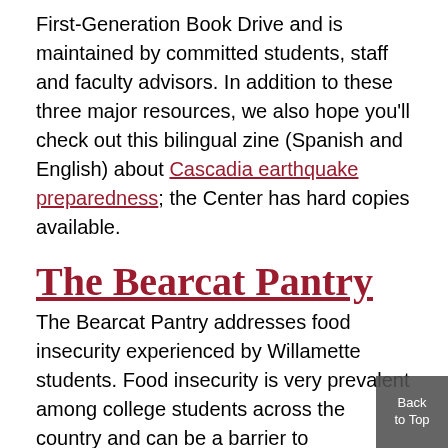First-Generation Book Drive and is maintained by committed students, staff and faculty advisors. In addition to these three major resources, we also hope you'll check out this bilingual zine (Spanish and English) about Cascadia earthquake preparedness; the Center has hard copies available.
The Bearcat Pantry
The Bearcat Pantry addresses food insecurity experienced by Willamette students. Food insecurity is very prevalent among college students across the country and can be a barrier to succeeding in school. The Bearcat Pantry has both perishable and non-perishable food items, as well as personal hygiene supplies, such as